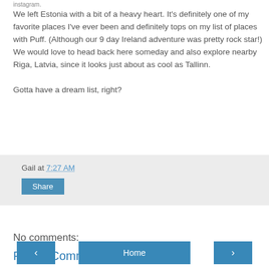instagram.
We left Estonia with a bit of a heavy heart. It's definitely one of my favorite places I've ever been and definitely tops on my list of places with Puff. (Although our 9 day Ireland adventure was pretty rock star!) We would love to head back here someday and also explore nearby Riga, Latvia, since it looks just about as cool as Tallinn.

Gotta have a dream list, right?
Gail at 7:27 AM
Share
No comments:
Post a Comment
‹
Home
›